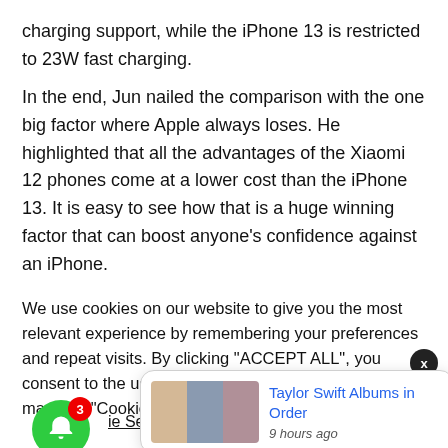charging support, while the iPhone 13 is restricted to 23W fast charging.
In the end, Jun nailed the comparison with the one big factor where Apple always loses. He highlighted that all the advantages of the Xiaomi 12 phones come at a lower cost than the iPhone 13. It is easy to see how that is a huge winning factor that can boost anyone’s confidence against an iPhone.
We use cookies on our website to give you the most relevant experience by remembering your preferences and repeat visits. By clicking “ACCEPT ALL”, you consent to the use of ALL the cookies. However, you may visit “Cookie Settings” to pro
ie Settings
[Figure (infographic): Notification popup showing Taylor Swift Albums in Order article, with 3 image thumbnails, timestamp '9 hours ago', notification bell icon with badge '3']